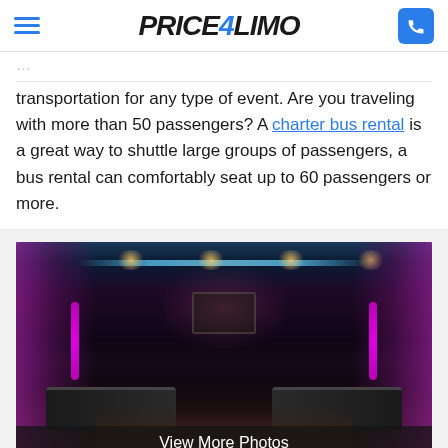PRICE4LIMO
transportation for any type of event. Are you traveling with more than 50 passengers? A charter bus rental is a great way to shuttle large groups of passengers, a bus rental can comfortably seat up to 60 passengers or more.
[Figure (photo): Interior of a luxury party bus with purple LED lighting along walls, ceiling lighting, seating benches on both sides, and a center aisle with wooden floor. A 'View More Photos' overlay bar at the bottom.]
Party Bus / Lim
Leave a message